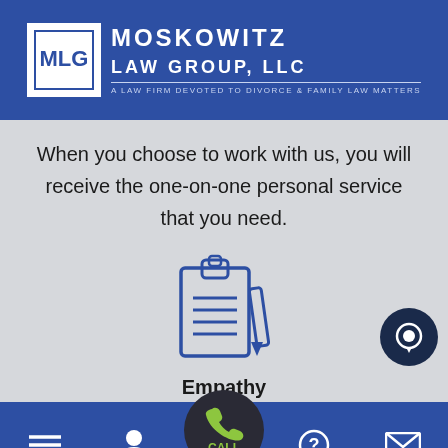[Figure (logo): Moskowitz Law Group, LLC logo with MLG initials in a bordered box and text 'A LAW FIRM DEVOTED TO DIVORCE & FAMILY LAW MATTERS']
When you choose to work with us, you will receive the one-on-one personal service that you need.
[Figure (illustration): Clipboard with pen icon in navy blue outline style]
Empathy
We understand that you may be suffering
Menu  Attorneys  CALL  FAQ  Contact